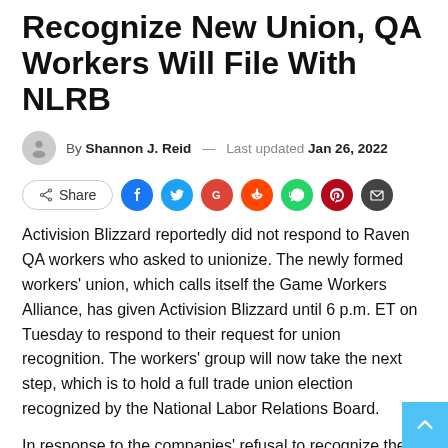Recognize New Union, QA Workers Will File With NLRB
By Shannon J. Reid — Last updated Jan 26, 2022
[Figure (other): Social share buttons row: Share button, Facebook, Twitter, Google, Reddit, WhatsApp, Pinterest, Email icons]
Activision Blizzard reportedly did not respond to Raven QA workers who asked to unionize. The newly formed workers’ union, which calls itself the Game Workers Alliance, has given Activision Blizzard until 6 p.m. ET on Tuesday to respond to their request for union recognition. The workers’ group will now take the next step, which is to hold a full trade union election recognized by the National Labor Relations Board.
In response to the companies’ refusal to recognize them, the Game Workers Alliance issued the following statement on Twitter: “We, the supermajority of Raven QA workers, are proud to confidently file our petition to the NLRB for our union